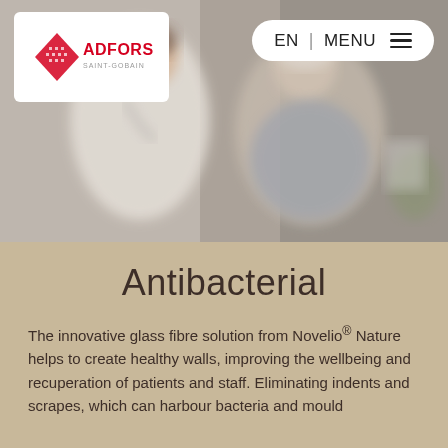[Figure (photo): Blurred background photo showing a doctor (woman with stethoscope) and an elderly male patient in a medical setting, with soft focus and neutral tones.]
[Figure (logo): ADFORS Saint-Gobain logo in white rounded rectangle box, top left. Red triangular chevron shape with ADFORS text in red and SAINT-GOBAIN below in smaller text.]
EN | MENU
Antibacterial
The innovative glass fibre solution from Novelio® Nature helps to create healthy walls, improving the wellbeing and recuperation of patients and staff. Eliminating indents and scrapes, which can harbour bacteria and mould